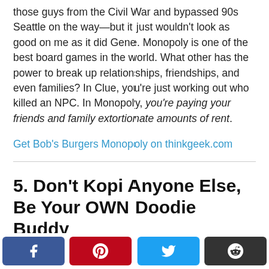those guys from the Civil War and bypassed 90s Seattle on the way—but it just wouldn't look as good on me as it did Gene. Monopoly is one of the best board games in the world. What other has the power to break up relationships, friendships, and even families? In Clue, you're just working out who killed an NPC. In Monopoly, you're paying your friends and family extortionate amounts of rent.
Get Bob's Burgers Monopoly on thinkgeek.com
5. Don't Kopi Anyone Else, Be Your OWN Doodie Buddy